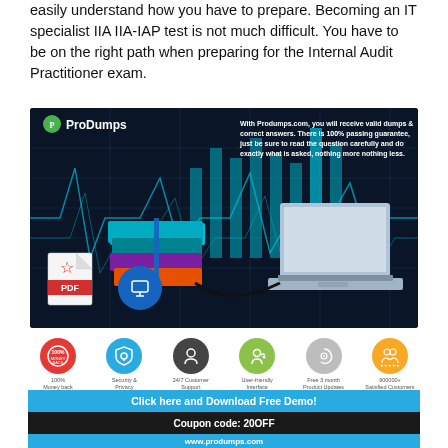easily understand how you have to prepare. Becoming an IT specialist IIA IIA-IAP test is not much difficult. You have to be on the right path when preparing for the Internal Audit Practitioner exam.
[Figure (infographic): ProDumps advertisement banner showing a laptop connected by cable to a stack of books, a PDF icon, a monitor icon, bar charts in background, with tagline about valid dumps and 100% passing guarantee. Below: six feature icons (100% Money back, Security & Privacy, 24/7 Customer Support, User-friendly Interface, Free 3 month Product Updates, 900000+ Satisfied Customers). Bottom banners: 'Click here and Download Free Demo!', 'Coupon code: 20OFF', 'www.produmps.com']
Click here and Download Free Demo!
Coupon code: 20OFF
www.produmps.com